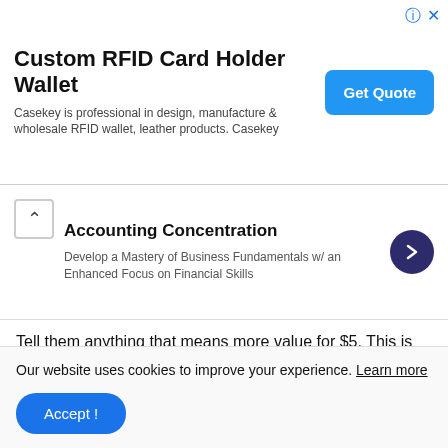[Figure (other): Advertisement banner: Custom RFID Card Holder Wallet with Get Quote button]
[Figure (other): Accounting Concentration promotional banner with up chevron and dark blue arrow button]
Tell them anything that means more value for $5. This is very important especially if you are just starting out and need to get some positive ratings under your belt.
Promote other Online Endeavors
Do not forget that you can also be a buyer of services on Fiverr. You would be amazed at what you can get for $5! If you are looking to promote your Clickbank or Adsense site
Our website uses cookies to improve your experience. Learn more
Accept !